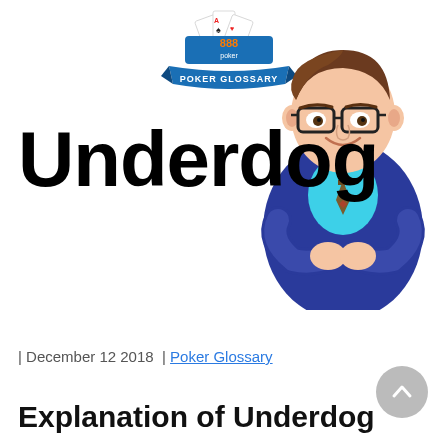[Figure (logo): 888 Poker Glossary logo with playing cards and blue ribbon banner]
[Figure (illustration): Cartoon illustration of a confident man in a blue suit with glasses and crossed arms]
Underdog
| December 12 2018 | Poker Glossary
Explanation of Underdog